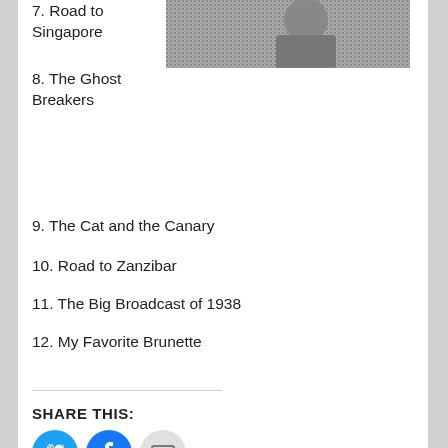[Figure (photo): Black and white photo of a person in a tweed or textured jacket, cropped, upper right area of page]
7. Road to Singapore
8. The Ghost Breakers
9. The Cat and the Canary
10. Road to Zanzibar
11. The Big Broadcast of 1938
12. My Favorite Brunette
SHARE THIS:
[Figure (other): Social share buttons: Twitter (blue bird icon circle), Facebook (blue f icon circle), Email (grey envelope circle)]
Loading...
Posted in Film List | Tagged Bob Hope | 4 Replies
Road to Morocco (1942)